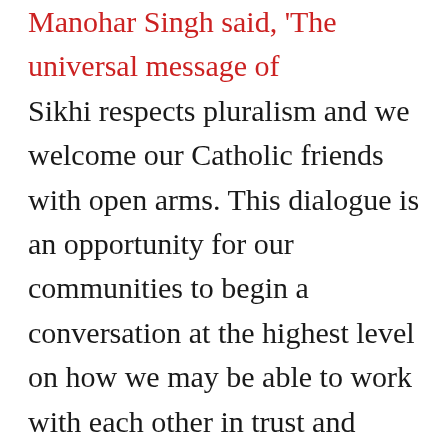Manohar Singh said, 'The universal message of Sikhi respects pluralism and we welcome our Catholic friends with open arms. This dialogue is an opportunity for our communities to begin a conversation at the highest level on how we may be able to work with each other in trust and friendship to make this world a more peaceful and just place for all.' At the consultation, the Sikh and Catholic communities expressed shared concerns over the challenges faced by immigrant communities in the U.S., the curtailment of religious freedom and human rights in South Asia, and the challenges of secularism to both